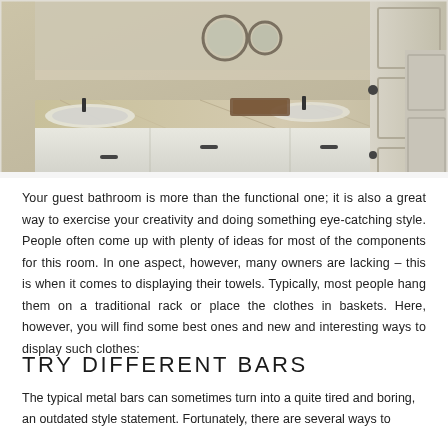[Figure (photo): Bathroom vanity with granite countertop, white cabinets with dark drawer pulls, double sinks, round mirrors on wall, and a white paneled door to the right.]
Your guest bathroom is more than the functional one; it is also a great way to exercise your creativity and doing something eye-catching style. People often come up with plenty of ideas for most of the components for this room. In one aspect, however, many owners are lacking – this is when it comes to displaying their towels. Typically, most people hang them on a traditional rack or place the clothes in baskets. Here, however, you will find some best ones and new and interesting ways to display such clothes:
TRY DIFFERENT BARS
The typical metal bars can sometimes turn into a quite tired and boring, an outdated style statement. Fortunately, there are several ways to